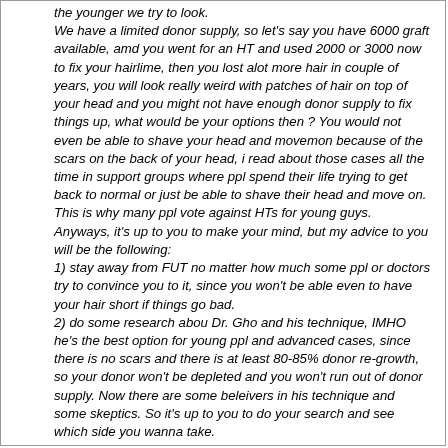the younger we try to look. We have a limited donor supply, so let's say you have 6000 graft available, amd you went for an HT and used 2000 or 3000 now to fix your hairlime, then you lost alot more hair in couple of years, you will look really weird with patches of hair on top of your head and you might not have enough donor supply to fix things up, what would be your options then ? You would not even be able to shave your head and movemon because of the scars on the back of your head, i read about those cases all the time in support groups where ppl spend their life trying to get back to normal or just be able to shave their head and move on.
This is why many ppl vote against HTs for young guys. Anyways, it's up to you to make your mind, but my advice to you will be the following:
1) stay away from FUT no matter how much some ppl or doctors try to convince you to it, since you won't be able even to have your hair short if things go bad.
2) do some research abou Dr. Gho and his technique, IMHO he's the best option for young ppl and advanced cases, since there is no scars and there is at least 80-85% donor re-growth, so your donor won't be depleted and you won't run out of donor supply. Now there are some beleivers in his technique and some skeptics. So it's up to you to do your search and see which side you wanna take.